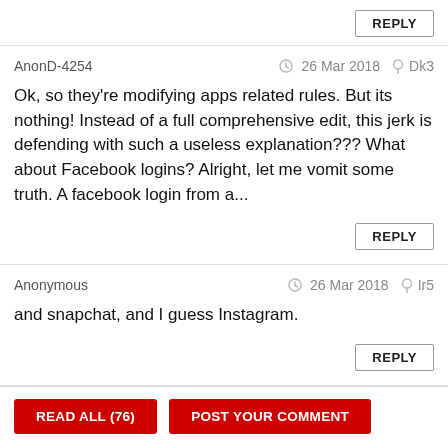REPLY
AnonD-4254  26 Mar 2018  Dk3
Ok, so they're modifying apps related rules. But its nothing! Instead of a full comprehensive edit, this jerk is defending with such a useless explanation??? What about Facebook logins? Alright, let me vomit some truth. A facebook login from a...
REPLY
Anonymous  26 Mar 2018  Ir5
and snapchat, and I guess Instagram.
REPLY
READ ALL (76)
POST YOUR COMMENT